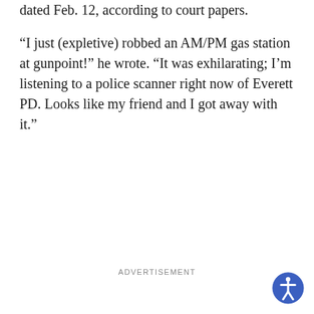dated Feb. 12, according to court papers.
“I just (expletive) robbed an AM/PM gas station at gunpoint!” he wrote. “It was exhilarating; I’m listening to a police scanner right now of Everett PD. Looks like my friend and I got away with it.”
ADVERTISEMENT